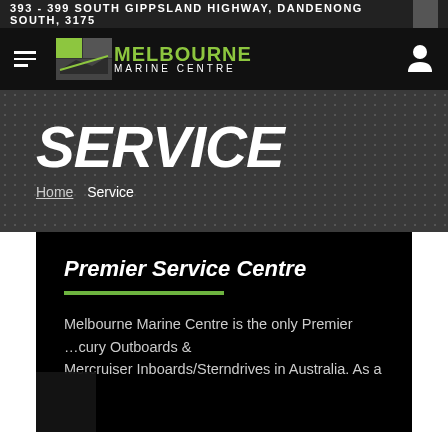393 - 399 SOUTH GIPPSLAND HIGHWAY, DANDENONG SOUTH, 3175
[Figure (logo): Melbourne Marine Centre logo with green and grey icon and text]
SERVICE
Home  Service
Premier Service Centre
Melbourne Marine Centre is the only Premier ...cury Outboards & Mercruiser Inboards/Sterndrives in Australia. As a